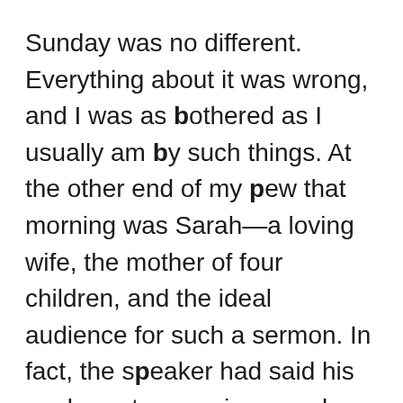Sunday was no different. Everything about it was wrong, and I was as bothered as I usually am by such things. At the other end of my pew that morning was Sarah—a loving wife, the mother of four children, and the ideal audience for such a sermon. In fact, the speaker had said his goal was to energize people just like Sarah in their child-rearing efforts.
Halfway through the sermon, I caught Sarah's eye—and while I'm not sure the exact look I had on my face, I'm pretty sure it wasn't one of my better ones. After church she caught up with me before I could get myself and my less-than-sanctified thoughts out the door. She